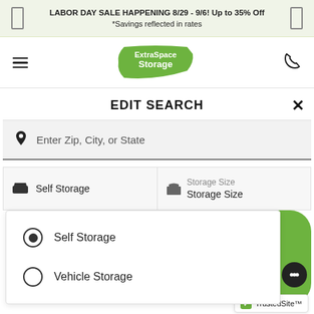LABOR DAY SALE HAPPENING 8/29 - 9/6! Up to 35% Off *Savings reflected in rates
[Figure (logo): Extra Space Storage logo - green badge shape with white text]
EDIT SEARCH
Enter Zip, City, or State
Self Storage | Storage Size / Storage Size
Self Storage (selected radio button)
Vehicle Storage (unselected radio button)
SELECT A UNIT BELOW